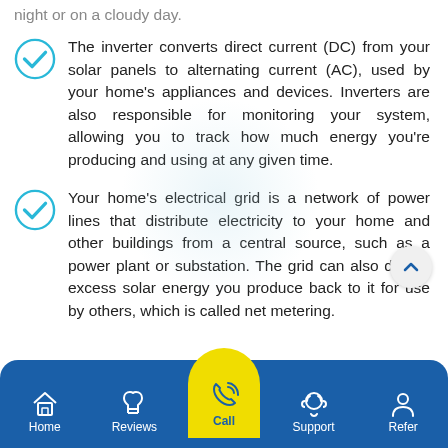The inverter converts direct current (DC) from your solar panels to alternating current (AC), used by your home's appliances and devices. Inverters are also responsible for monitoring your system, allowing you to track how much energy you're producing and using at any given time.
Your home's electrical grid is a network of power lines that distribute electricity to your home and other buildings from a central source, such as a power plant or substation. The grid can also deliver excess solar energy you produce back to it for use by others, which is called net metering.